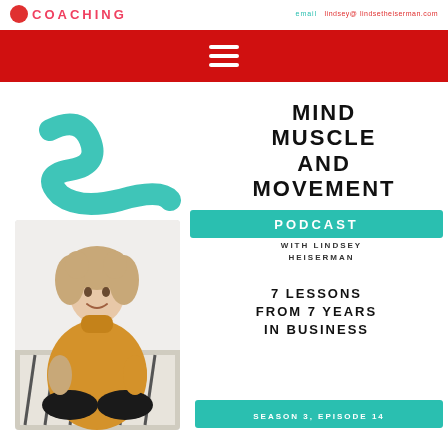COACHING | lindsey@ lindsetheiserman.com
[Figure (screenshot): Red navigation bar with white hamburger menu icon]
[Figure (illustration): Teal/turquoise abstract squiggle paint stroke graphic]
MIND MUSCLE AND MOVEMENT
PODCAST
WITH LINDSEY HEISERMAN
7 LESSONS FROM 7 YEARS IN BUSINESS
[Figure (photo): Woman with curly hair wearing a yellow/mustard turtleneck sweater, sitting cross-legged on a couch with zebra print cushions, smiling at camera]
SEASON 3, EPISODE 14